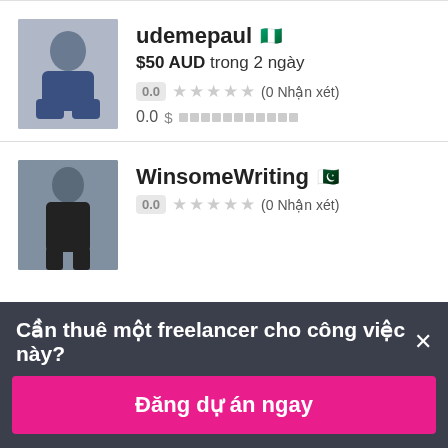[Figure (photo): Profile photo of udemepaul, a person seated, wearing blue shirt]
udemepaul 🇳🇬
$50 AUD trong 2 ngày
0.0 ★★★★★ (0 Nhận xét)
0.0 $ ▪▪▪▪▪▪▪▪▪▪▪
[Figure (photo): Profile photo of WinsomeWriting, a person standing, wearing black]
WinsomeWriting 🇵🇰
0.0 ★★★★★ (0 Nhận xét)
Cần thuê một freelancer cho công việc này? ×
Đăng dự án ngay